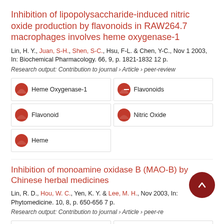Inhibition of lipopolysaccharide-induced nitric oxide production by flavonoids in RAW264.7 macrophages involves heme oxygenase-1
Lin, H. Y., Juan, S-H., Shen, S-C., Hsu, F-L. & Chen, Y-C., Nov 1 2003, In: Biochemical Pharmacology. 66, 9, p. 1821-1832 12 p.
Research output: Contribution to journal › Article › peer-review
Heme Oxygenase-1
Flavonoids
Flavonoid
Nitric Oxide
Heme
Inhibition of monoamine oxidase B (MAO-B) by Chinese herbal medicines
Lin, R. D., Hou, W. C., Yen, K. Y. & Lee, M. H., Nov 2003, In: Phytomedicine. 10, 8, p. 650-656 7 p.
Research output: Contribution to journal › Article › peer-review
Amine Oxidase (Flavin-Contain
Monoamine Oxidase